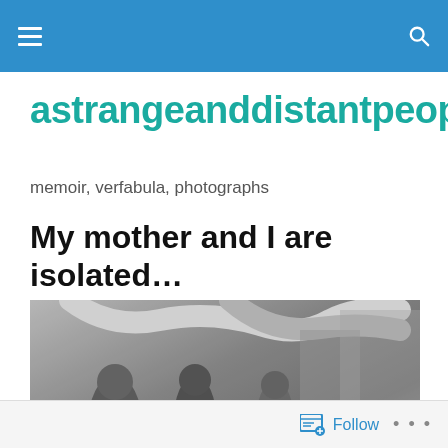astrangeanddistantpeople — menu and search bar
astrangeanddistantpeople
memoir, verfabula, photographs
My mother and I are isolated…
[Figure (photo): Black and white photograph of a group of women and children gathered together indoors, with large pipes visible overhead. They appear to be in an industrial or wartime setting, holding papers or cups.]
Follow   ...